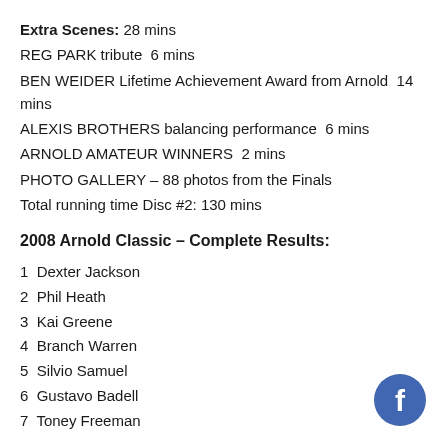Extra Scenes: 28 mins
REG PARK tribute  6 mins
BEN WEIDER Lifetime Achievement Award from Arnold  14 mins
ALEXIS BROTHERS balancing performance  6 mins
ARNOLD AMATEUR WINNERS  2 mins
PHOTO GALLERY – 88 photos from the Finals
Total running time Disc #2: 130 mins
2008 Arnold Classic – Complete Results:
1  Dexter Jackson
2  Phil Heath
3  Kai Greene
4  Branch Warren
5  Silvio Samuel
6  Gustavo Badell
7  Toney Freeman
[Figure (logo): Facebook logo icon — blue circle with white 'f' letter]